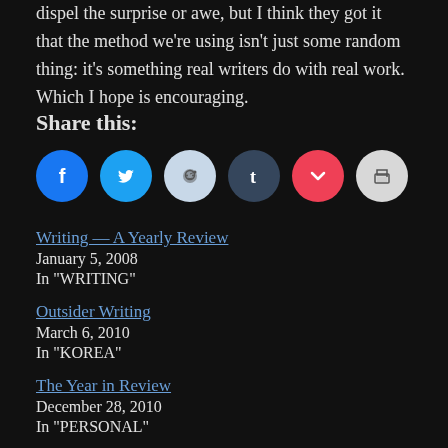dispel the surprise or awe, but I think they got it that the method we're using isn't just some random thing: it's something real writers do with real work. Which I hope is encouraging.
Share this:
[Figure (infographic): Row of six social sharing icon circles: Facebook (blue), Twitter (light blue), Reddit (light blue-grey), Tumblr (dark blue), Pocket (red), Print (light grey)]
Writing — A Yearly Review
January 5, 2008
In "WRITING"
Outsider Writing
March 6, 2010
In "KOREA"
The Year in Review
December 28, 2010
In "PERSONAL"